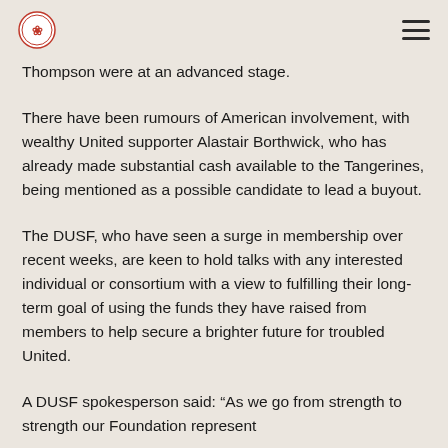[Logo] [Hamburger menu]
Thompson were at an advanced stage.
There have been rumours of American involvement, with wealthy United supporter Alastair Borthwick, who has already made substantial cash available to the Tangerines, being mentioned as a possible candidate to lead a buyout.
The DUSF, who have seen a surge in membership over recent weeks, are keen to hold talks with any interested individual or consortium with a view to fulfilling their long-term goal of using the funds they have raised from members to help secure a brighter future for troubled United.
A DUSF spokesperson said: “As we go from strength to strength our Foundation represent